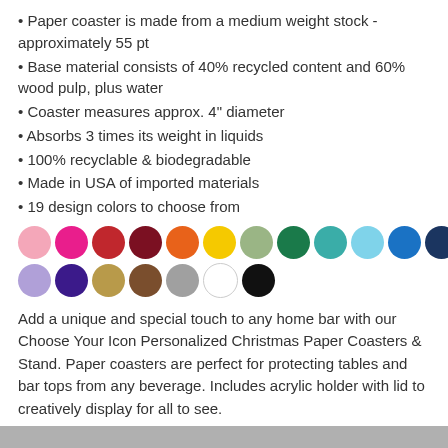Paper coaster is made from a medium weight stock - approximately 55 pt
Base material consists of 40% recycled content and 60% wood pulp, plus water
Coaster measures approx. 4" diameter
Absorbs 3 times its weight in liquids
100% recyclable & biodegradable
Made in USA of imported materials
19 design colors to choose from
[Figure (illustration): Two rows of colored circles showing 19 design color options: pink, hot pink, red, dark red, orange, yellow, sage green, dark green, teal, light blue, blue, navy (top row); lavender, purple, gold/tan, brown, gray, white, black (bottom row)]
Add a unique and special touch to any home bar with our Choose Your Icon Personalized Christmas Paper Coasters & Stand. Paper coasters are perfect for protecting tables and bar tops from any beverage. Includes acrylic holder with lid to creatively display for all to see.